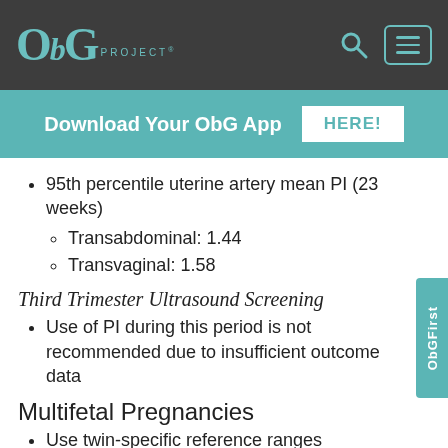OBG PROJECT®
Download Your ObG App HERE!
95th percentile uterine artery mean PI (23 weeks)
  - Transabdominal: 1.44
  - Transvaginal: 1.58
Third Trimester Ultrasound Screening
Use of PI during this period is not recommended due to insufficient outcome data
Multifetal Pregnancies
Use twin-specific reference ranges